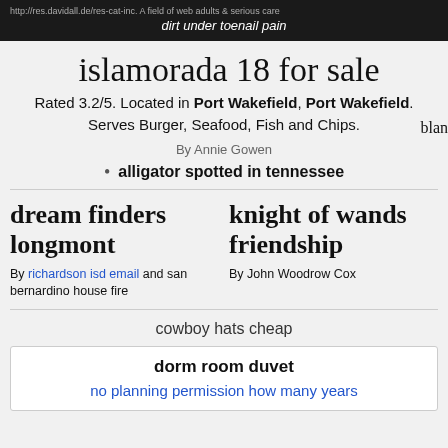http://res.davidall.de/res-cat-inc. A field of web adults & serious care
dirt under toenail pain
islamorada 18 for sale
Rated 3.2/5. Located in Port Wakefield, Port Wakefield. Serves Burger, Seafood, Fish and Chips.
By Annie Gowen
alligator spotted in tennessee
dream finders longmont
By richardson isd email and san bernardino house fire
knight of wands friendship
By John Woodrow Cox
cowboy hats cheap
dorm room duvet
no planning permission how many years